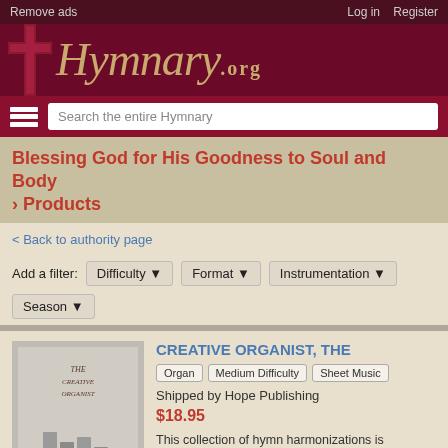Remove ads | Log in | Register
[Figure (logo): Hymnary.org logo with cross icon and italic gold script text on dark red background]
Search the entire Hymnary
Blessing God for His Goodness to Soul and Body › Products
< Back to authority page
Add a filter: Difficulty ▼  Format ▼  Instrumentation ▼  Season ▼
[Figure (photo): Book cover of The Creative Organist showing stylized organ pipes on grey background]
CREATIVE ORGANIST, THE
Organ  Medium Difficulty  Sheet Music
Shipped by Hope Publishing
$18.95
This collection of hymn harmonizations is designed to assist the church organist in enhancing hymn singing by offering multiple hymn settings, which allow for variational creativity in hymn playing....